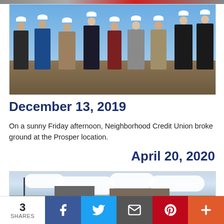[Figure (photo): Group of people in white hard hats doing a groundbreaking ceremony with shovels at a construction site on a sunny day]
December 13, 2019
On a sunny Friday afternoon, Neighborhood Credit Union broke ground at the Prosper location.
April 20, 2020
[Figure (photo): Wide shot of a construction site with cloudy sky, showing a flat area with some buildings in the background]
3 SHARES | Facebook | Twitter | Email | Pinterest | More